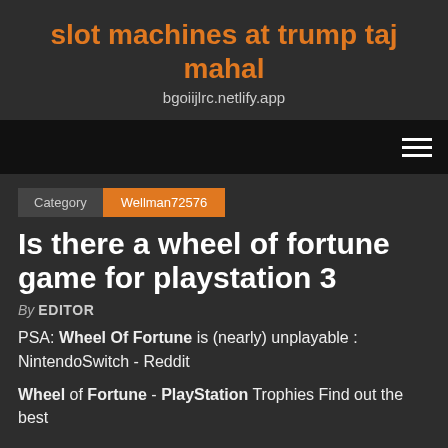slot machines at trump taj mahal
bgoiijlrc.netlify.app
Is there a wheel of fortune game for playstation 3
By EDITOR
PSA: Wheel Of Fortune is (nearly) unplayable : NintendoSwitch - Reddit
Wheel of Fortune - PlayStation Trophies Find out the best